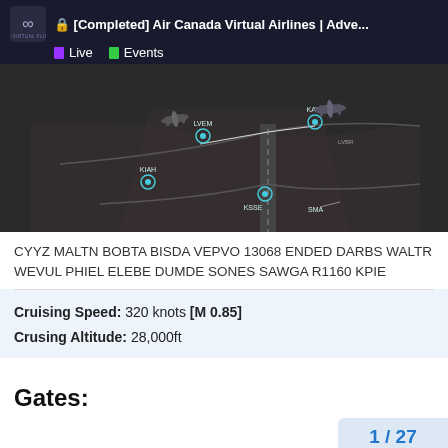[Completed] Air Canada Virtual Airlines | Adve... Live Events
[Figure (screenshot): Dark map view showing an airport with aircraft icons labeled LVEM, KAT1, KIAH, KSSE, SMA, and other waypoints with flight route lines visible]
CYYZ MALTN BOBTA BISDA VEPVO 13068 ENDED DARBS WALTR WEVUL PHIEL ELEBE DUMDE SONES SAWGA R1160 KPIE
Cruising Speed: 320 knots [M 0.85]
Crusing Altitude: 28,000ft
Gates:
1 / 27
You Dont Have To Be In ACVA To Partak